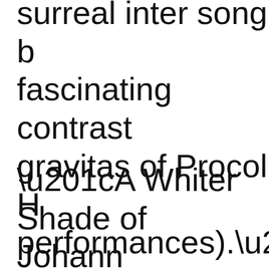surreal inter song b fascinating contrast gravitas of Procol H performances).”
“A Whiter Shade of Johann Sebastian B G String” for its cho Matthew Fisher’s or